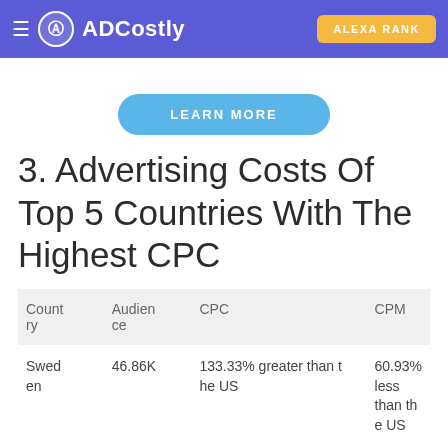ADCostly | ALEXA RANK
LEARN MORE
3. Advertising Costs Of Top 5 Countries With The Highest CPC
| Country | Audience | CPC | CPM |
| --- | --- | --- | --- |
| Sweden | 46.86K | 133.33% greater than the US | 60.93% less than the US |